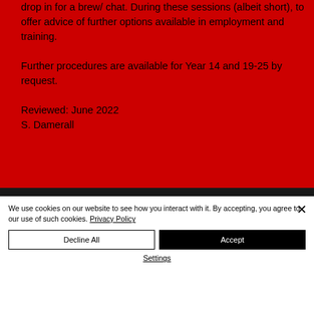drop in for a brew/ chat. During these sessions (albeit short), to offer advice of further options available in employment and training.
Further procedures are available for Year 14 and 19-25 by request.
Reviewed: June 2022
S. Damerall
Call
T: 01772 435948
© KS Education 2022
We use cookies on our website to see how you interact with it. By accepting, you agree to our use of such cookies. Privacy Policy
Decline All
Accept
Settings